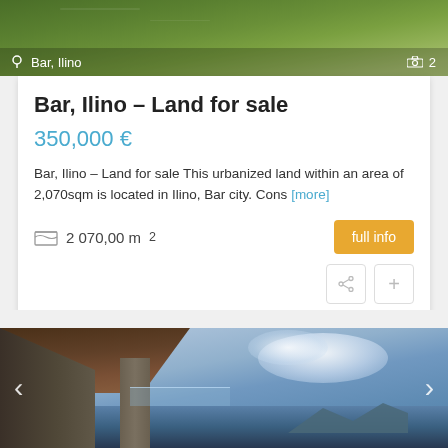[Figure (photo): Aerial/ground view of green grassy land with location label 'Bar, Ilino' and camera count '2' overlaid at bottom]
Bar, Ilino – Land for sale
350,000 €
Bar, Ilino – Land for sale This urbanized land within an area of 2,070sqm is located in Ilino, Bar city. Cons [more]
2 070,00 m²
[Figure (photo): Modern house exterior/interior with wooden ceiling, concrete walls, glass railings, and scenic sea/mountain view with cloudy sky. Navigation arrows on left and right.]